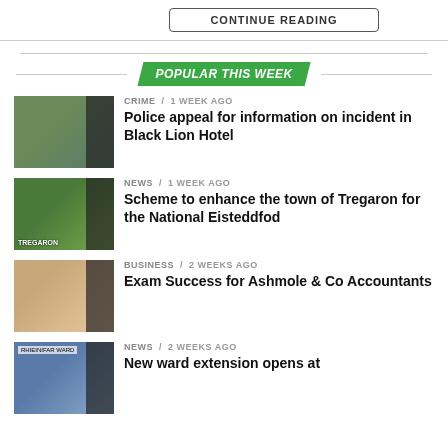CONTINUE READING
POPULAR THIS WEEK
CRIME / 1 week ago
Police appeal for information on incident in Black Lion Hotel
NEWS / 1 week ago
Scheme to enhance the town of Tregaron for the National Eisteddfod
BUSINESS / 2 weeks ago
Exam Success for Ashmole & Co Accountants
NEWS / 2 weeks ago
New ward extension opens at